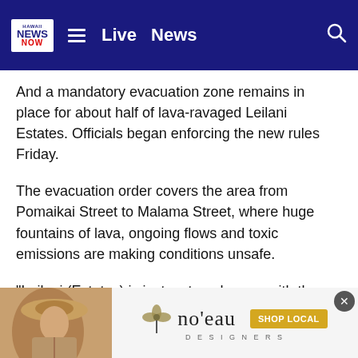Hawaii News Now — Live | News
And a mandatory evacuation zone remains in place for about half of lava-ravaged Leilani Estates. Officials began enforcing the new rules Friday.
The evacuation order covers the area from Pomaikai Street to Malama Street, where huge fountains of lava, ongoing flows and toxic emissions are making conditions unsafe.
"Leilani (Estates) is just so treacherous with the fissures opening up," said Talmadge Magno, Hawaii County Civil Defense administrator, at a news conference Saturday. "That's the reason we chose to shut it down."
[Figure (photo): Advertisement banner for no'eau Designers with a woman wearing a hat and a 'SHOP LOCAL' button]